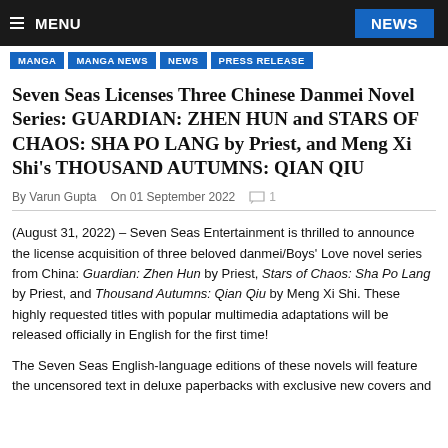MENU | NEWS
MANGA
MANGA NEWS
NEWS
PRESS RELEASE
Seven Seas Licenses Three Chinese Danmei Novel Series: GUARDIAN: ZHEN HUN and STARS OF CHAOS: SHA PO LANG by Priest, and Meng Xi Shi's THOUSAND AUTUMNS: QIAN QIU
By Varun Gupta   On 01 September 2022   1
(August 31, 2022) – Seven Seas Entertainment is thrilled to announce the license acquisition of three beloved danmei/Boys' Love novel series from China: Guardian: Zhen Hun by Priest, Stars of Chaos: Sha Po Lang by Priest, and Thousand Autumns: Qian Qiu by Meng Xi Shi. These highly requested titles with popular multimedia adaptations will be released officially in English for the first time!
The Seven Seas English-language editions of these novels will feature the uncensored text in deluxe paperbacks with exclusive new covers and